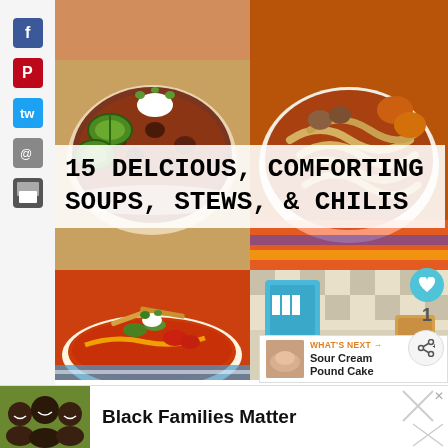[Figure (photo): Collage of 4 soup/stew/chili food photos arranged in a 2x2 grid behind central title text]
15 Delcious, Comforting Soups, Stews, & Chilis
[Figure (photo): Small thumbnail of Sour Cream Pound Cake next to 'What's Next' label]
WHAT'S NEXT → Sour Cream Pound Cake
[Figure (photo): Ad banner with group of people smiling]
Black Families Matter